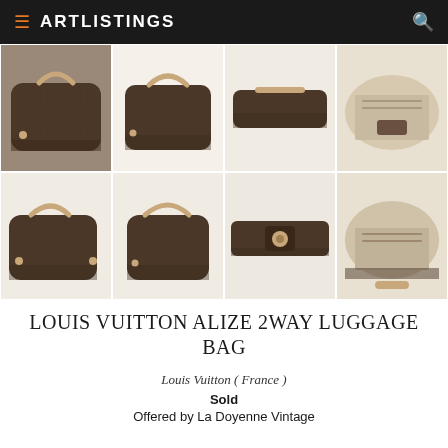ARTLISTINGS
[Figure (photo): Grid of 8 product photos showing a Louis Vuitton Alize 2Way Luggage Bag in monogram canvas from various angles: front, side, top, open interior, and with companion pieces.]
LOUIS VUITTON ALIZE 2WAY LUGGAGE BAG
Louis Vuitton ( France )
Sold
Offered by La Doyenne Vintage